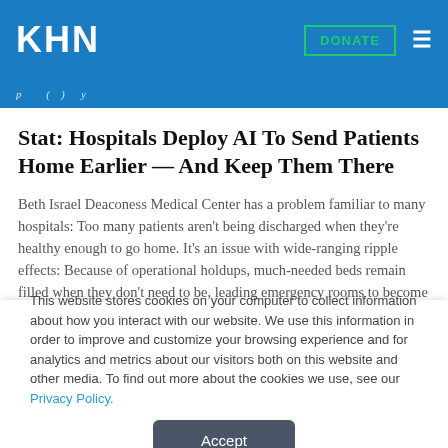KHN
Stat: Hospitals Deploy AI To Send Patients Home Earlier — And Keep Them There
Beth Israel Deaconess Medical Center has a problem familiar to many hospitals: Too many patients aren't being discharged when they're healthy enough to go home. It's an issue with wide-ranging ripple effects: Because of operational holdups, much-needed beds remain filled when they don't need to be, leading emergency rooms to become congested. Patients must
This website stores cookies on your computer to collect information about how you interact with our website. We use this information in order to improve and customize your browsing experience and for analytics and metrics about our visitors both on this website and other media. To find out more about the cookies we use, see our Privacy Policy.
Accept